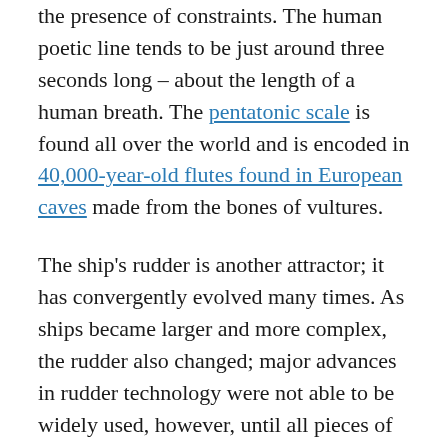the presence of constraints. The human poetic line tends to be just around three seconds long – about the length of a human breath. The pentatonic scale is found all over the world and is encoded in 40,000-year-old flutes found in European caves made from the bones of vultures.
The ship's rudder is another attractor; it has convergently evolved many times. As ships became larger and more complex, the rudder also changed; major advances in rudder technology were not able to be widely used, however, until all pieces of the puzzle were present (see, e.g., The development of the rudder, A.D. 100-1600: A technological tale, by Lawrence V. Mott, summarized in Boyd, Richerson, and Henrich, The cultural evolution of technology: Facts and theories). It is not difficult to see biological